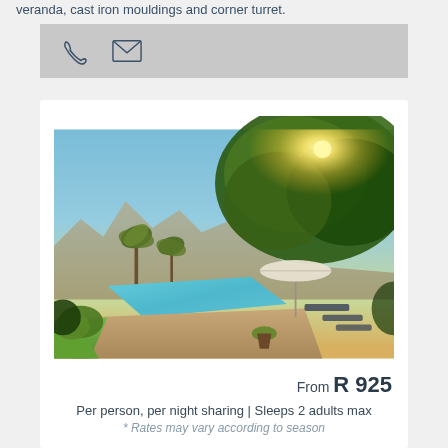veranda, cast iron mouldings and corner turret.
[Figure (other): Icons: phone and email contact icons on gray bar]
[Figure (photo): Outdoor swimming pool at sunset with loungers, umbrella, palm trees and lush garden, mountains in background]
From R 925
Per person, per night sharing | Sleeps 2 adults max
* Rates may vary according to season